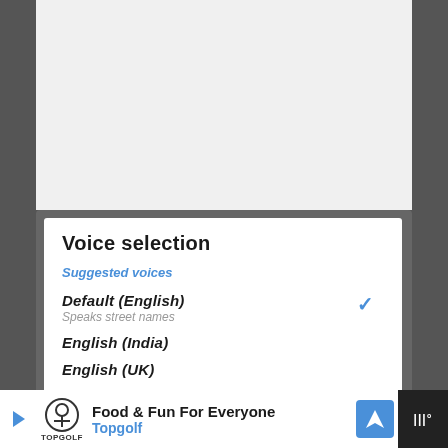[Figure (screenshot): Screenshot of a mobile app voice selection dialog showing options: Default (English) with checkmark, English (India), English (UK), English (US), with Suggested voices section header in blue.]
Voice selection
Suggested voices
Default (English)
Speaks street names
English (India)
English (UK)
English (US)
Food & Fun For Everyone
Topgolf